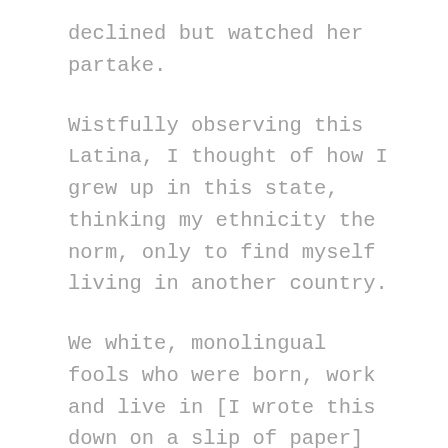declined but watched her partake.
Wistfully observing this Latina, I thought of how I grew up in this state, thinking my ethnicity the norm, only to find myself living in another country.
We white, monolingual fools who were born, work and live in [I wrote this down on a slip of paper] “El Pueblo de Nuestra Señora la Reina de los Ángeles del Río Porciúncula”, who are we but